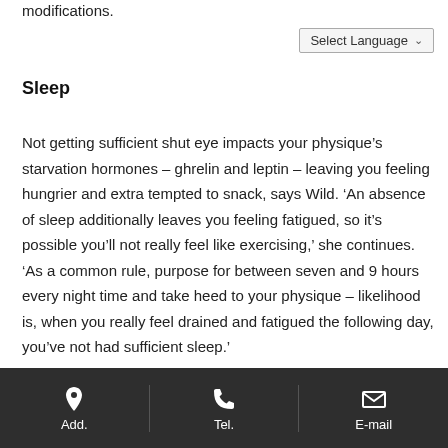modifications.
Select Language
Sleep
Not getting sufficient shut eye impacts your physique’s starvation hormones – ghrelin and leptin – leaving you feeling hungrier and extra tempted to snack, says Wild. ‘An absence of sleep additionally leaves you feeling fatigued, so it’s possible you’ll not really feel like exercising,’ she continues. ‘As a common rule, purpose for between seven and 9 hours every night time and take heed to your physique – likelihood is, when you really feel drained and fatigued the following day, you’ve not had sufficient sleep.’
Add.   Tel.   E-mail